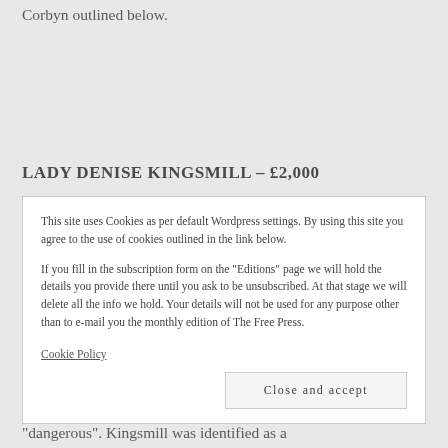Corbyn outlined below.
LADY DENISE KINGSMILL – £2,000
This site uses Cookies as per default Wordpress settings. By using this site you agree to the use of cookies outlined in the link below.

If you fill in the subscription form on the "Editions" page we will hold the details you provide there until you ask to be unsubscribed. At that stage we will delete all the info we hold. Your details will not be used for any purpose other than to e-mail you the monthly edition of The Free Press.
Cookie Policy
Close and accept
“dangerous”. Kingsmill was identified as a